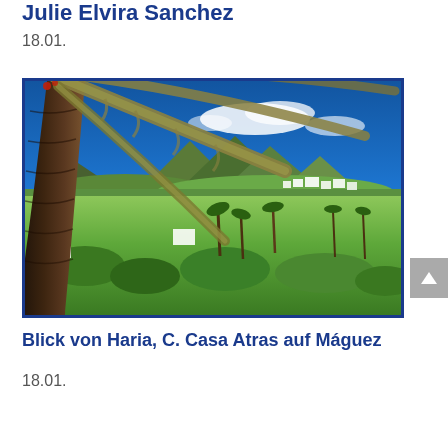Julie Elvira Sanchez
18.01.
[Figure (photo): Landscape photograph showing a close-up of a palm tree trunk with large dry fronds in the foreground, lush green valley with palm trees and white buildings in the middle ground, volcanic mountains and bright blue sky in the background — view from Haria, C. Casa Atras towards Máguez, Lanzarote.]
Blick von Haria, C. Casa Atras auf Máguez
18.01.